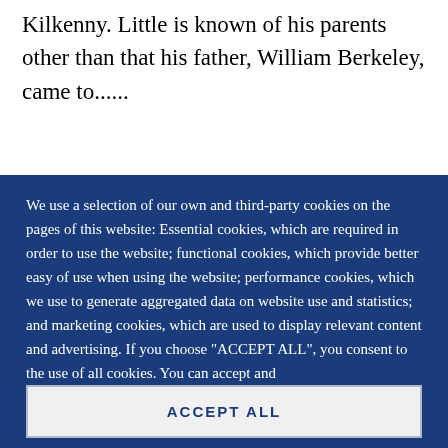Kilkenny. Little is known of his parents other than that his father, William Berkeley, came to......
We use a selection of our own and third-party cookies on the pages of this website: Essential cookies, which are required in order to use the website; functional cookies, which provide better easy of use when using the website; performance cookies, which we use to generate aggregated data on website use and statistics; and marketing cookies, which are used to display relevant content and advertising. If you choose "ACCEPT ALL", you consent to the use of all cookies. You can accept and
ACCEPT ALL